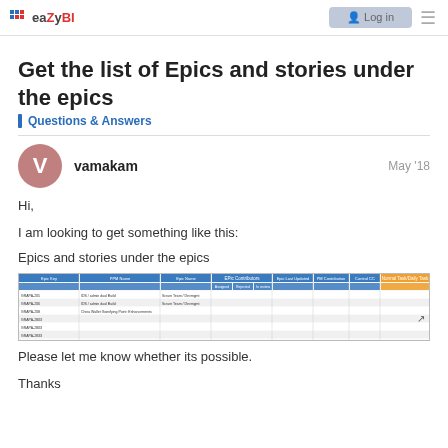eaZyBI | Log in
Get the list of Epics and stories under the epics
Questions & Answers
vamakam — May '18
Hi,

I am looking to get something like this:
Epics and stories under the epics
[Figure (screenshot): Screenshot of a spreadsheet table showing Epic Key, PPM Name, Epic Name, Epic Contributors (Assigned, Rejected, In review), Epic Last Updated, PM Contribution, Control/CC, and Normal Task/Daily Task columns with several rows of data.]
Please let me know whether its possible.

Thanks